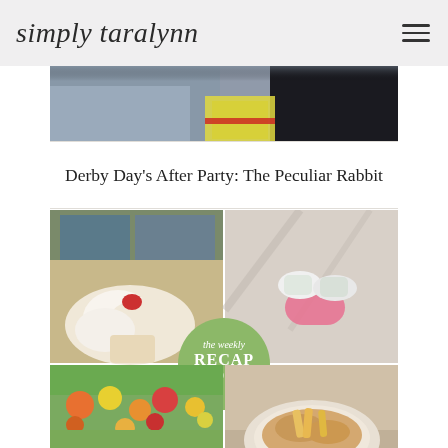simply taralynn
[Figure (photo): Partial photo of people standing, cropped at top, showing clothing details]
Derby Day's After Party: The Peculiar Rabbit
[Figure (photo): Blog post photo collage showing: top-left a pastry with whipped cream, top-right a person's feet/shoes on floor, bottom-left a garden with colorful flowers, bottom-right a food dish. Center overlay circle badge reads 'the weekly RECAP POST']